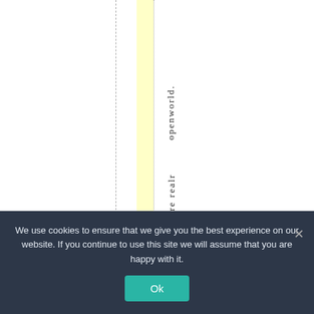[Figure (other): Webpage screenshot showing vertical text reading 'openworld. We are real r' in a column layout with a yellow highlighted vertical band and dashed/dotted guide lines. A cookie consent overlay is visible at the bottom.]
We use cookies to ensure that we give you the best experience on our website. If you continue to use this site we will assume that you are happy with it.
Ok